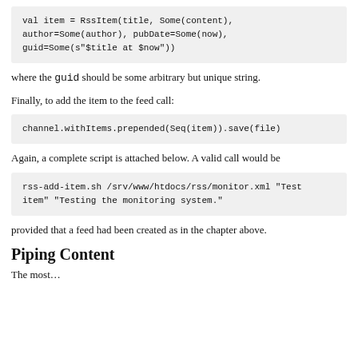val item = RssItem(title, Some(content),
author=Some(author), pubDate=Some(now),
guid=Some(s"$title at $now"))
where the guid should be some arbitrary but unique string.
Finally, to add the item to the feed call:
channel.withItems.prepended(Seq(item)).save(file)
Again, a complete script is attached below. A valid call would be
rss-add-item.sh /srv/www/htdocs/rss/monitor.xml "Test
item" "Testing the monitoring system."
provided that a feed had been created as in the chapter above.
Piping Content
The most…